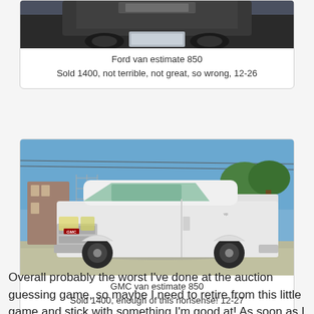[Figure (photo): Partial view of a Ford van (front/top portion), dark colored, photographed from front angle]
Ford van estimate 850
Sold 1400, not terrible, not great, so wrong, 12-26
[Figure (photo): White GMC van (Astro/Safari style) parked outdoors, photographed from front-left angle in a sunny parking area with chain-link fence and buildings in background]
GMC van estimate 850
Sold 1400, enough of this nonsense! 12-27
Overall probably the worst I've done at the auction guessing game, so maybe I need to retire from this little game and stick with something I'm good at! As soon as I find anything I'm good at, I'll stick with it.